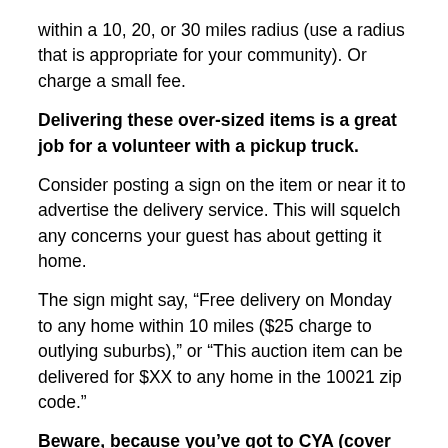within a 10, 20, or 30 miles radius (use a radius that is appropriate for your community). Or charge a small fee.
Delivering these over-sized items is a great job for a volunteer with a pickup truck.
Consider posting a sign on the item or near it to advertise the delivery service. This will squelch any concerns your guest has about getting it home.
The sign might say, “Free delivery on Monday to any home within 10 miles ($25 charge to outlying suburbs),” or “This auction item can be delivered for $XX to any home in the 10021 zip code.”
Beware, because you’ve got to CYA (cover your arse).